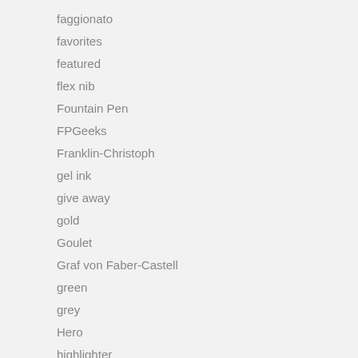faggionato
favorites
featured
flex nib
Fountain Pen
FPGeeks
Franklin-Christoph
gel ink
give away
gold
Goulet
Graf von Faber-Castell
green
grey
Hero
highlighter